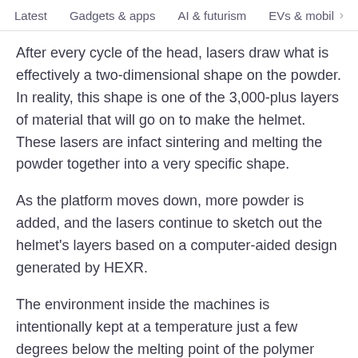Latest   Gadgets & apps   AI & futurism   EVs & mobil  >
After every cycle of the head, lasers draw what is effectively a two-dimensional shape on the powder. In reality, this shape is one of the 3,000-plus layers of material that will go on to make the helmet. These lasers are infact sintering and melting the powder together into a very specific shape.
As the platform moves down, more powder is added, and the lasers continue to sketch out the helmet's layers based on a computer-aided design generated by HEXR.
The environment inside the machines is intentionally kept at a temperature just a few degrees below the melting point of the polymer powder, about 175C.